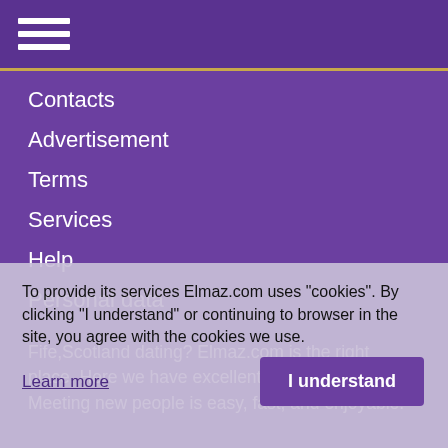☰ (hamburger menu icon)
Contacts
Advertisement
Terms
Services
Help
Personal data
Fife,Scotland dating? Elmaz.com is the right place. Here we have excellent choices for you. Meeting new people is easy, fast, and enjoyable.
You can see potential dating partners from a broad area, or a specific city that you are living, or you are interested in.
To provide its services Elmaz.com uses "cookies". By clicking "I understand" or continuing to browser in the site, you agree with the cookies we use.
Learn more
I understand